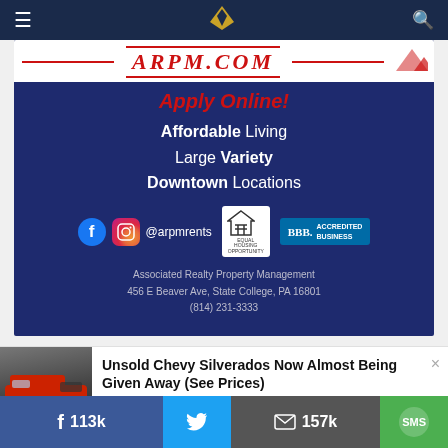Navigation bar with hamburger menu, site logo, and search icon
[Figure (advertisement): ARPM.COM property management advertisement on dark blue background. Shows 'Apply Online!' in red italic, 'Affordable Living Large Variety Downtown Locations' text, social media icons for Facebook and Instagram with handle @arpmrents, Equal Housing Opportunity logo, BBB Accredited Business badge, and contact info: Associated Realty Property Management, 456 E Beaver Ave, State College, PA 16801, (814) 231-3333]
[Figure (advertisement): Unsold Chevy Silverados Now Almost Being Given Away (See Prices) - Trucks | Search Ads | Sponsored. Shows red Chevy Silverado truck photo on left.]
Facebook 113k | Twitter share | Email 157k | SMS